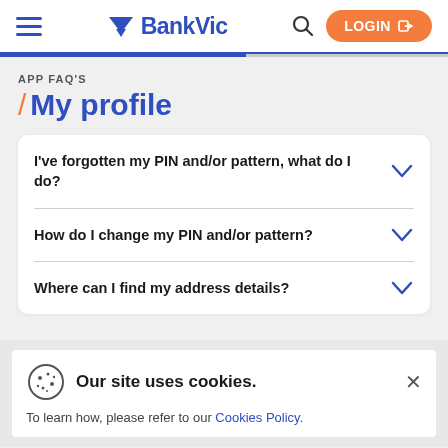BankVic — LOGIN
APP FAQ'S
/ My profile
I've forgotten my PIN and/or pattern, what do I do?
How do I change my PIN and/or pattern?
Where can I find my address details?
Our site uses cookies. To learn how, please refer to our Cookies Policy.